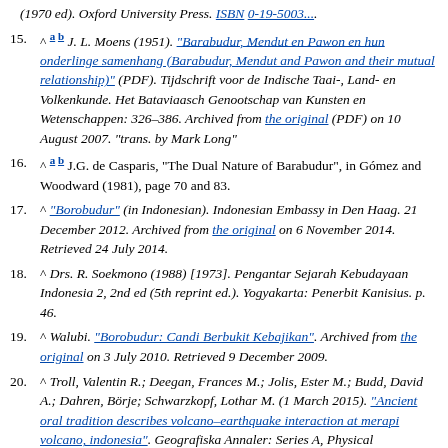(partial top) ...1970 ed). Oxford University Press. ISBN 0-19-5003..
15. ^ a b J. L. Moens (1951). "Barabudur, Mendut en Pawon en hun onderlinge samenhang (Barabudur, Mendut and Pawon and their mutual relationship)" (PDF). Tijdschrift voor de Indische Taai-, Land- en Volkenkunde. Het Bataviaasch Genootschap van Kunsten en Wetenschappen: 326–386. Archived from the original (PDF) on 10 August 2007. "trans. by Mark Long"
16. ^ a b J.G. de Casparis, "The Dual Nature of Barabudur", in Gómez and Woodward (1981), page 70 and 83.
17. ^ "Borobudur" (in Indonesian). Indonesian Embassy in Den Haag. 21 December 2012. Archived from the original on 6 November 2014. Retrieved 24 July 2014.
18. ^ Drs. R. Soekmono (1988) [1973]. Pengantar Sejarah Kebudayaan Indonesia 2, 2nd ed (5th reprint ed.). Yogyakarta: Penerbit Kanisius. p. 46.
19. ^ Walubi. "Borobudur: Candi Berbukit Kebajikan". Archived from the original on 3 July 2010. Retrieved 9 December 2009.
20. ^ Troll, Valentin R.; Deegan, Frances M.; Jolis, Ester M.; Budd, David A.; Dahren, Börje; Schwarzkopf, Lothar M. (1 March 2015). "Ancient oral tradition describes volcano–earthquake interaction at merapi volcano, indonesia". Geografiska Annaler: Series A, Physical Geography. 97 (1): 137–166. doi:10.1111/geoa.12099. ISSN 0435-3676.